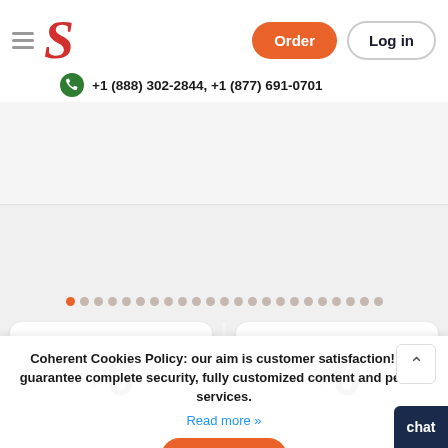[Figure (logo): Red stylized S logo for a writing service website]
+1 (888) 302-2844, +1 (877) 691-0701
[Figure (infographic): Carousel with pagination dots — 1 orange dot active, 22 grey dots]
[Figure (infographic): Two cards showing animated counters with green up arrows and the number 0]
Coherent Cookies Policy: our aim is customer satisfaction! We guarantee complete security, fully customized content and perfect services.
Read more »
It's Ok